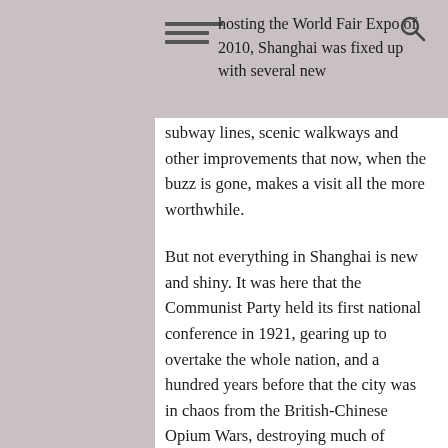hosting the World Fair Expo of 2010, Shanghai was fixed up with several new
subway lines, scenic walkways and other improvements that now, when the buzz is gone, makes a visit all the more worthwhile.
But not everything in Shanghai is new and shiny. It was here that the Communist Party held its first national conference in 1921, gearing up to overtake the whole nation, and a hundred years before that the city was in chaos from the British-Chinese Opium Wars, destroying much of Shanghai's dignity and self respect. But the city's history goes way beyond that – in fact, it spans over a thousand years, having been around since the Ming Dynasty. Until 1127, Shanghai was a small market town of 12,000 households, before